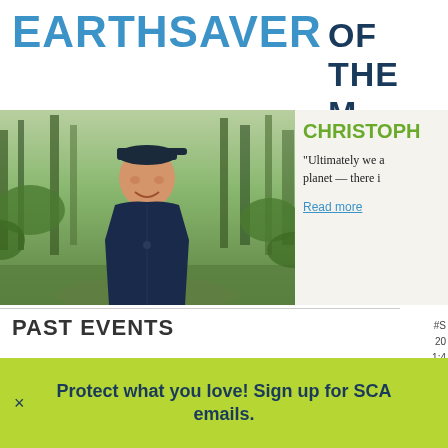EARTHSAVER OF THE M
Meet the volunteers serving in parks around the country.
[Figure (photo): Young man smiling in a forest setting, wearing a dark jacket and cap, standing on a trail surrounded by green trees and foliage]
CHRISTOPH
"Ultimately we all share the same planet — there is
Read more
PAST EVENTS
[Figure (photo): SERVICE event card - green bamboo/plant stalks background]
[Figure (photo): SERVICE event card - green bamboo/plant stalks background with Northwest Indiana Tree caption]
[Figure (photo): OTHER event card - partial view]
Protect what you love! Sign up for SCA emails.